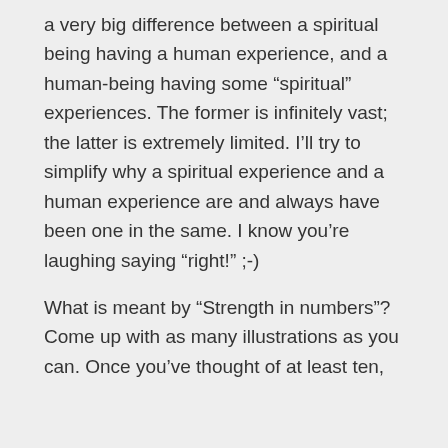a very big difference between a spiritual being having a human experience, and a human-being having some “spiritual” experiences. The former is infinitely vast; the latter is extremely limited. I’ll try to simplify why a spiritual experience and a human experience are and always have been one in the same. I know you’re laughing saying “right!” ;-)
What is meant by “Strength in numbers”? Come up with as many illustrations as you can. Once you’ve thought of at least ten,